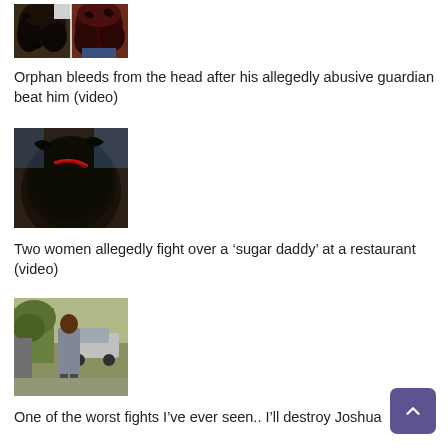[Figure (photo): Two side-by-side photos of women with curly hair]
Orphan bleeds from the head after his allegedly abusive guardian beat him (video)
[Figure (photo): Close-up photo of the back of a child's head showing a wound/cut with blood]
Two women allegedly fight over a ‘sugar daddy’ at a restaurant (video)
[Figure (photo): Outdoor scene showing people near a car in a parking area]
One of the worst fights I’ve ever seen.. I’ll destroy Joshua